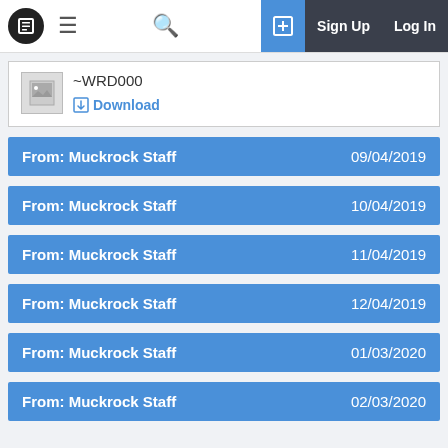MuckRock — Sign Up | Log In
[Figure (screenshot): File thumbnail with ~WRD000 label and Download link]
From: Muckrock Staff  09/04/2019
From: Muckrock Staff  10/04/2019
From: Muckrock Staff  11/04/2019
From: Muckrock Staff  12/04/2019
From: Muckrock Staff  01/03/2020
From: Muckrock Staff  02/03/2020